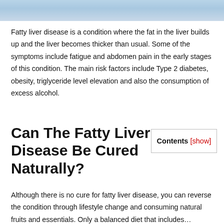[Figure (photo): Partial photo of a person related to fatty liver disease content, cropped at top of page]
Fatty liver disease is a condition where the fat in the liver builds up and the liver becomes thicker than usual. Some of the symptoms include fatigue and abdomen pain in the early stages of this condition. The main risk factors include Type 2 diabetes, obesity, triglyceride level elevation and also the consumption of excess alcohol.
Can The Fatty Liver Disease Be Cured Naturally?
Contents [show]
Although there is no cure for fatty liver disease, you can reverse the condition through lifestyle change and consuming natural fruits and essentials. Only a balanced diet that includes...